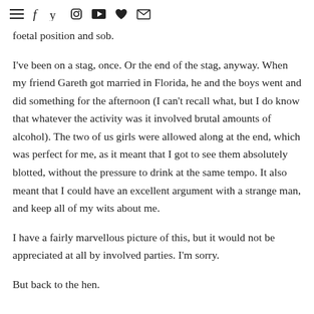[hamburger menu] [facebook] [twitter] [instagram] [youtube] [heart/bloglovin] [email]
foetal position and sob.
I've been on a stag, once. Or the end of the stag, anyway. When my friend Gareth got married in Florida, he and the boys went and did something for the afternoon (I can't recall what, but I do know that whatever the activity was it involved brutal amounts of alcohol). The two of us girls were allowed along at the end, which was perfect for me, as it meant that I got to see them absolutely blotted, without the pressure to drink at the same tempo. It also meant that I could have an excellent argument with a strange man, and keep all of my wits about me.
I have a fairly marvellous picture of this, but it would not be appreciated at all by involved parties. I'm sorry.
But back to the hen.